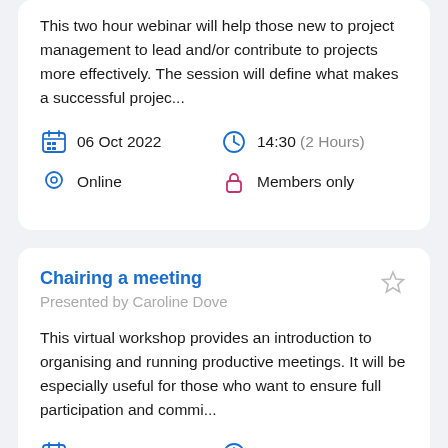This two hour webinar will help those new to project management to lead and/or contribute to projects more effectively. The session will define what makes a successful projec...
06 Oct 2022   14:30 (2 Hours)
Online   Members only
Chairing a meeting
Presented by Caroline Dove
This virtual workshop provides an introduction to organising and running productive meetings. It will be especially useful for those who want to ensure full participation and commi...
13 Oct 2022   09:30 (1 Hour)